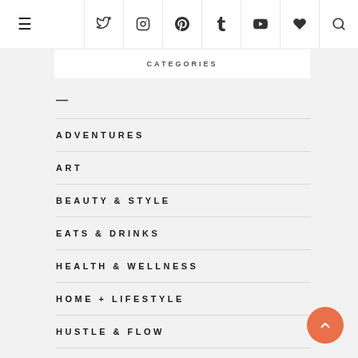Navigation bar with hamburger menu and social icons: Twitter, Instagram, Pinterest, Tumblr, YouTube, Heart, Search
CATEGORIES
—
ADVENTURES
ART
BEAUTY & STYLE
EATS & DRINKS
HEALTH & WELLNESS
HOME + LIFESTYLE
HUSTLE & FLOW
INTERVIEWS